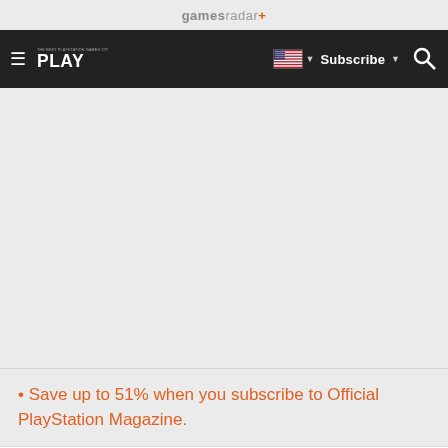gamesradar+
[Figure (logo): PLAY magazine logo and navigation bar with hamburger menu, US flag dropdown, Subscribe button, and search icon]
• Save up to 51% when you subscribe to Official PlayStation Magazine.